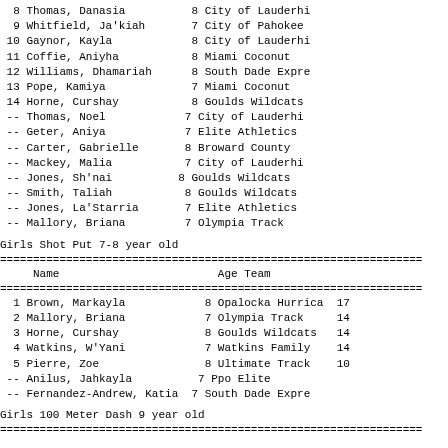| Place | Name | Age | Team |
| --- | --- | --- | --- |
| 8 | Thomas, Danasia | 8 | City of Lauderhi |
| 9 | Whitfield, Ja'kiah | 7 | City of Pahokee |
| 10 | Gaynor, Kayla | 8 | City of Lauderhi |
| 11 | Coffie, Aniyha | 8 | Miami Coconut |
| 12 | Williams, Dhamariah | 8 | South Dade Expre |
| 13 | Pope, Kamiya | 7 | Miami Coconut |
| 14 | Horne, Curshay | 8 | Goulds Wildcats |
| -- | Thomas, Noel | 7 | City of Lauderhi |
| -- | Geter, Aniya | 7 | Elite Athletics |
| -- | Carter, Gabrielle | 8 | Broward County |
| -- | Mackey, Malia | 7 | City of Lauderhi |
| -- | Jones, Sh'nai | 8 | Goulds Wildcats |
| -- | Smith, Taliah | 8 | Goulds Wildcats |
| -- | Jones, La'Starria | 7 | Elite Athletics |
| -- | Mallory, Briana | 7 | Olympia Track |
Girls Shot Put 7-8 year old
| Place | Name | Age | Team | Result |
| --- | --- | --- | --- | --- |
| 1 | Brown, Markayla | 8 | Opalocka Hurrica | 17 |
| 2 | Mallory, Briana | 7 | Olympia Track | 14 |
| 3 | Horne, Curshay | 8 | Goulds Wildcats | 14 |
| 4 | Watkins, W'Yani | 7 | Watkins Family | 14 |
| 5 | Pierre, Zoe | 8 | Ultimate Track | 10 |
| -- | Anilus, Jahkayla | 7 | Ppo Elite |  |
| -- | Fernandez-Andrew, Katia | 7 | South Dade Expre |  |
Girls 100 Meter Dash 9 year old